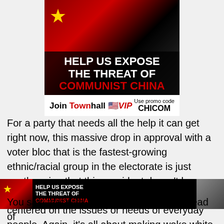[Figure (infographic): Advertisement banner: 'HELP US EXPOSE THE THREAT OF COMMUNIST CHINA' with Chinese flag imagery and a political figure photo. Join TownhallVIP with promo code CHICOM.]
Join Townhall VIP   Use promo code CHICOM
For a party that needs all the help it can get right now, this massive drop in approval with a voter bloc that is the fastest-growing ethnic/racial group in the electorate is just another sign that this president doesn't have an agenda that's real. It's not popular. It's not centered on the issues or needs of everyday people. Again, it's all about making woke white folk
[Figure (infographic): Bottom banner advertisement: 'HELP US EXPOSE THE THREAT OF COMMUNIST CHINA' with Chinese flag imagery and a political figure photo.]
You saw that with the gas price crisis. Instead of